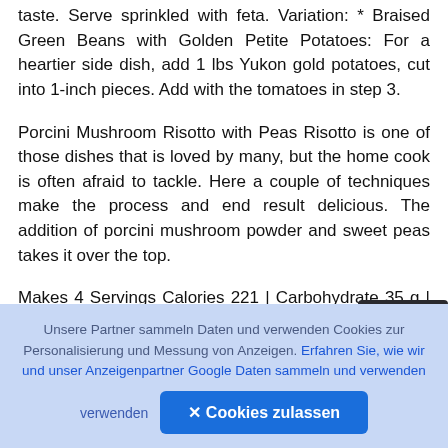taste. Serve sprinkled with feta. Variation: * Braised Green Beans with Golden Petite Potatoes: For a heartier side dish, add 1 lbs Yukon gold potatoes, cut into 1-inch pieces. Add with the tomatoes in step 3.
Porcini Mushroom Risotto with Peas Risotto is one of those dishes that is loved by many, but the home cook is often afraid to tackle. Here a couple of techniques make the process and end result delicious. The addition of porcini mushroom powder and sweet peas takes it over the top.
Makes 4 Servings Calories 221 | Carbohydrate 35 g | Fiber 2 g | Fat 5 g | Protein 7 g 2-1/2 cups
[Figure (other): Dark square button with a camera/upload icon (circle with up-arrow)]
Unsere Partner sammeln Daten und verwenden Cookies zur Personalisierung und Messung von Anzeigen. Erfahren Sie, wie wir und unser Anzeigenpartner Google Daten sammeln und verwenden
✕ Cookies zulassen